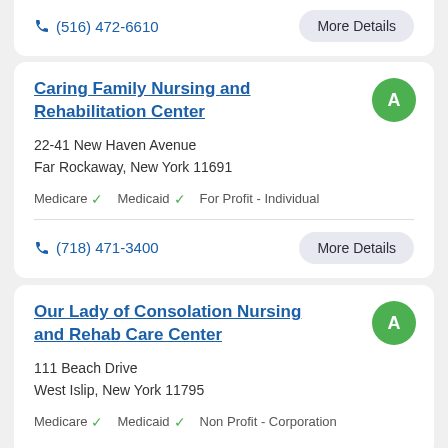(516) 472-6610 | More Details
Caring Family Nursing and Rehabilitation Center
22-41 New Haven Avenue
Far Rockaway, New York 11691
Medicare ✓  Medicaid ✓  For Profit - Individual
(718) 471-3400 | More Details
Our Lady of Consolation Nursing and Rehab Care Center
111 Beach Drive
West Islip, New York 11795
Medicare ✓  Medicaid ✓  Non Profit - Corporation